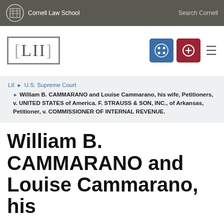Cornell Law School | Search Cornell
[Figure (logo): LII - Legal Information Institute logo with bracket styling]
LII > U.S. Supreme Court > William B. CAMMARANO and Louise Cammarano, his wife, Petitioners, v. UNITED STATES of America. F. STRAUSS & SON, INC., of Arkansas, Petitioner, v. COMMISSIONER OF INTERNAL REVENUE.
William B. CAMMARANO and Louise Cammarano, his